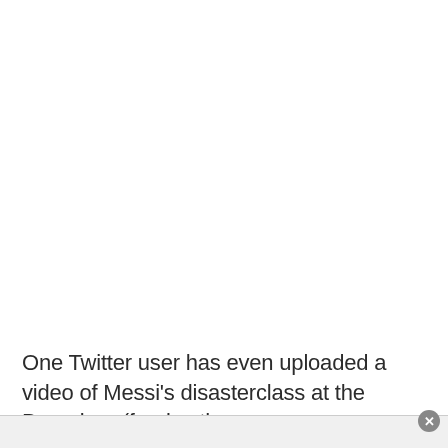One Twitter user has even uploaded a video of Messi's disasterclass at the Bernabeu (forgive the